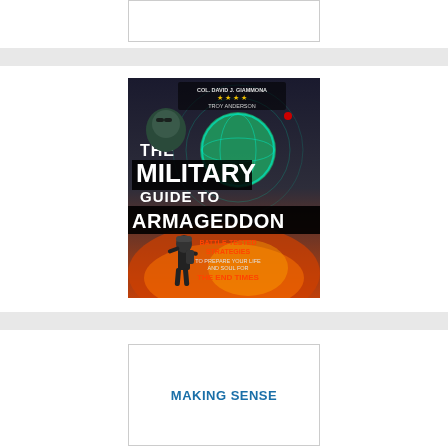[Figure (other): Empty bordered box at top center of page]
[Figure (illustration): Book cover: The Military Guide to Armageddon by Col. David J. Giammona (four stars) and Troy Anderson. Features a soldier silhouette, globe, fire/explosion imagery. Subtitle: Battle-Tested Strategies to Prepare Your Life and Soul for The End Times.]
MAKING SENSE